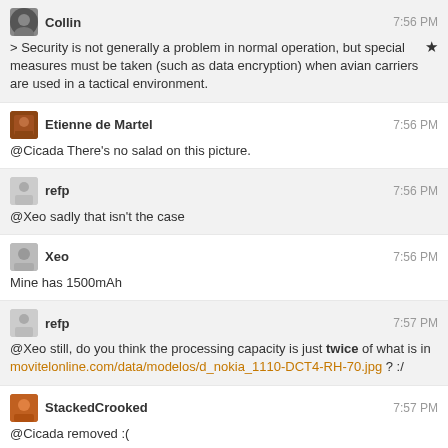Collin 7:56 PM
> Security is not generally a problem in normal operation, but special measures must be taken (such as data encryption) when avian carriers are used in a tactical environment.
Etienne de Martel 7:56 PM
@Cicada There's no salad on this picture.
refp 7:56 PM
@Xeo sadly that isn't the case
Xeo 7:56 PM
Mine has 1500mAh
refp 7:57 PM
@Xeo still, do you think the processing capacity is just twice of what is in movitelonline.com/data/modelos/d_nokia_1110-DCT4-RH-70.jpg ? :/
StackedCrooked 7:57 PM
@Cicada removed :(
Shotgun Ninja 7:57 PM
whoa, pretty women in the Lounge? All the nerd guys, act like baboons!
Cicada 7:57 PM
@StackedCrooked Yeah big pictures are annoying